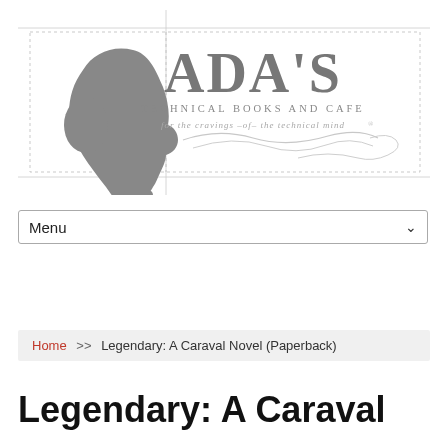[Figure (logo): Ada's Technical Books and Cafe logo with silhouette of a woman's head profile on the left and stylized text 'ADA'S TECHNICAL BOOKS AND CAFE - for the cravings -of- the technical mind' on the right, surrounded by dashed border lines]
Menu
Home >> Legendary: A Caraval Novel (Paperback)
Legendary: A Caraval